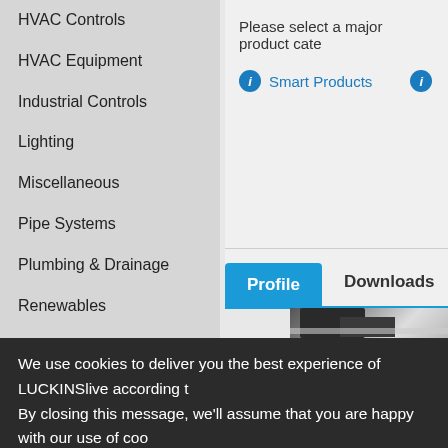HVAC Controls
HVAC Equipment
Industrial Controls
Lighting
Miscellaneous
Pipe Systems
Plumbing & Drainage
Renewables
Sanitary & Bathroom
Tools & Consumables
Wiring Accessories
Please select a major product cate
Smart Products
Profile
Downloads
[Figure (photo): Kitchen interior with dark cabinets and appliances]
We use cookies to deliver you the best experience of LUCKINSlive according to
By closing this message, we'll assume that you are happy with our use of coo